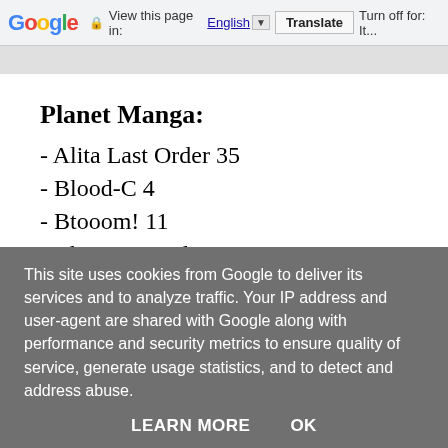Google — View this page in: English [▼] Translate | Turn off for: It...
Planet Manga:
- Alita Last Order 35
- Blood-C 4
- Btooom! 11
- Chi, Casa Dolce Casa 5
This site uses cookies from Google to deliver its services and to analyze traffic. Your IP address and user-agent are shared with Google along with performance and security metrics to ensure quality of service, generate usage statistics, and to detect and address abuse.
LEARN MORE   OK